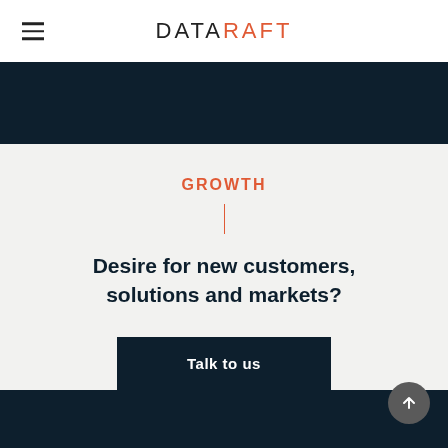DATARAFT
GROWTH
Desire for new customers, solutions and markets?
Talk to us